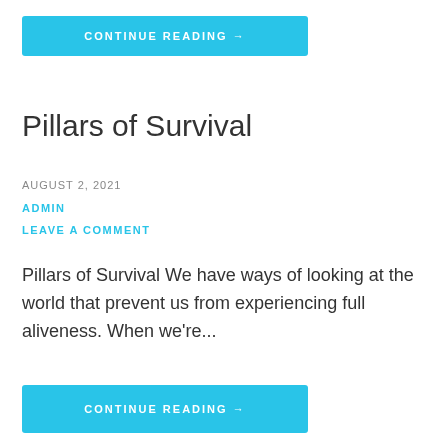CONTINUE READING →
Pillars of Survival
AUGUST 2, 2021
ADMIN
LEAVE A COMMENT
Pillars of Survival We have ways of looking at the world that prevent us from experiencing full aliveness. When we're...
CONTINUE READING →